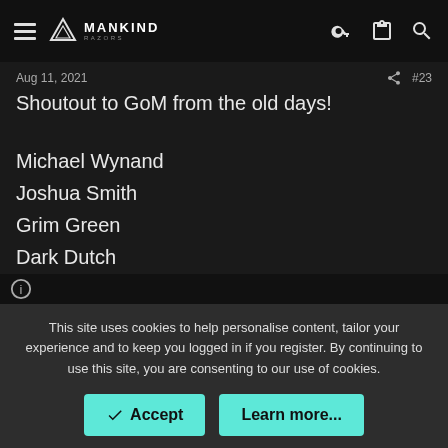MANKIND — header navigation with hamburger menu, logo, key icon, clipboard icon, search icon
Aug 11, 2021  #23
Shoutout to GoM from the old days!
Michael Wynand
Joshua Smith
Grim Green
Dark Dutch
Mike Ranfre
Yendor Marsico
Vengeance
This site uses cookies to help personalise content, tailor your experience and to keep you logged in if you register. By continuing to use this site, you are consenting to our use of cookies.
Accept  Learn more...